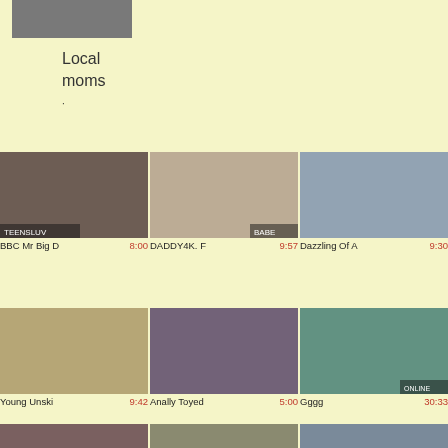[Figure (photo): Small cropped thumbnail image at top left]
Local moms
[Figure (photo): Video thumbnail 1 - BBC Mr Big]
[Figure (photo): Video thumbnail 2 - DADDY4K]
[Figure (photo): Video thumbnail 3 - Dazzling Of]
BBC Mr Big  8:00
DADDY4K. F  9:57
Dazzling Of A  9:30
[Figure (photo): Video thumbnail 4 - Young Unski]
[Figure (photo): Video thumbnail 5 - Anally Toyed]
[Figure (photo): Video thumbnail 6 - Gggg]
Young Unski  9:42
Anally Toyed  5:00
Gggg  30:33
[Figure (photo): Video thumbnail 7 - partial row]
[Figure (photo): Video thumbnail 8 - partial row]
[Figure (photo): Video thumbnail 9 - partial row]